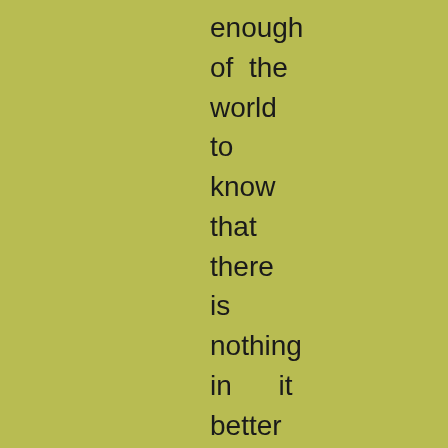enough of the world to know that there is nothing in it better than the faithful service of the heart; so rendered